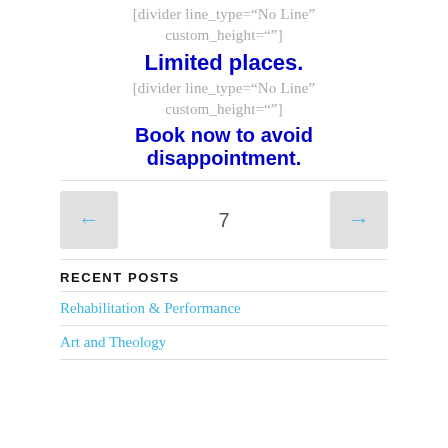[divider line_type="No Line" custom_height=""]
Limited places.
[divider line_type="No Line" custom_height=""]
Book now to avoid disappointment.
7
RECENT POSTS
Rehabilitation & Performance
Art and Theology